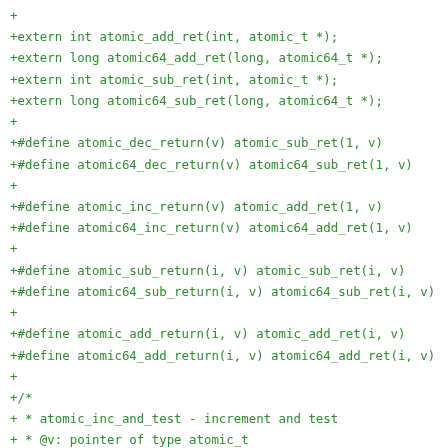+
+extern int atomic_add_ret(int, atomic_t *);
+extern long atomic64_add_ret(long, atomic64_t *);
+extern int atomic_sub_ret(int, atomic_t *);
+extern long atomic64_sub_ret(long, atomic64_t *);
+
+#define atomic_dec_return(v) atomic_sub_ret(1, v)
+#define atomic64_dec_return(v) atomic64_sub_ret(1, v)
+
+#define atomic_inc_return(v) atomic_add_ret(1, v)
+#define atomic64_inc_return(v) atomic64_add_ret(1, v)
+
+#define atomic_sub_return(i, v) atomic_sub_ret(i, v)
+#define atomic64_sub_return(i, v) atomic64_sub_ret(i, v)
+
+#define atomic_add_return(i, v) atomic_add_ret(i, v)
+#define atomic64_add_return(i, v) atomic64_add_ret(i, v)
+
+/*
+ * atomic_inc_and_test - increment and test
+ * @v: pointer of type atomic_t
+ * *
+ * Atomically increments @v by 1
+ * and returns true if the result is zero, or false for all
+ * other cases.